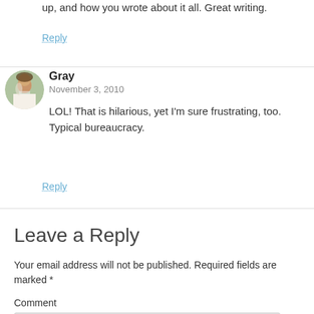up, and how you wrote about it all. Great writing.
Reply
Gray
November 3, 2010
LOL! That is hilarious, yet I'm sure frustrating, too. Typical bureaucracy.
Reply
Leave a Reply
Your email address will not be published. Required fields are marked *
Comment